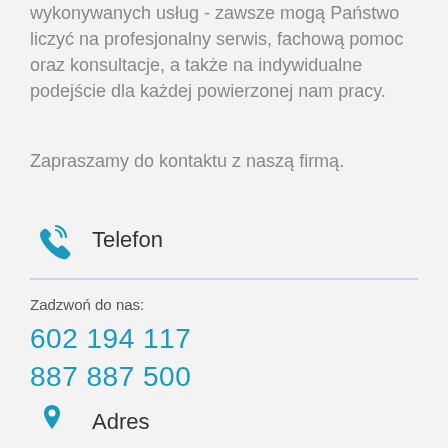wykonywanych usług - zawsze mogą Państwo liczyć na profesjonalny serwis, fachową pomoc oraz konsultacje, a także na indywidualne podejście dla każdej powierzonej nam pracy.
Zapraszamy do kontaktu z naszą firmą.
Telefon
Zadzwoń do nas:
602 194 117
887 887 500
Adres